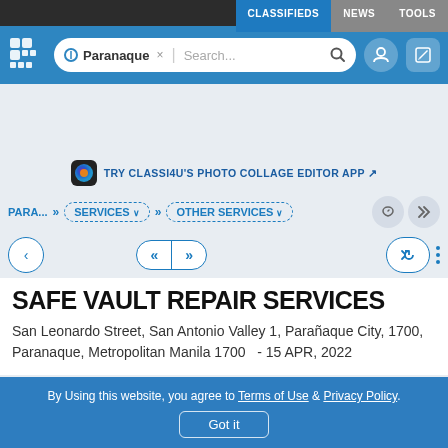CLASSIFIEDS | NEWS | TOOLS
[Figure (screenshot): Website header bar with logo, location pill showing Paranaque, search bar, user icon and edit icon]
TRY CLASSI4U'S PHOTO COLLAGE EDITOR APP
PARA... » SERVICES » OTHER SERVICES
< « » share more
SAFE VAULT REPAIR SERVICES
San Leonardo Street, San Antonio Valley 1, Parañaque City, 1700, Paranaque, Metropolitan Manila 1700   - 15 APR, 2022
By Using this website, you agree to Terms of Use & Privacy Policy. Got it